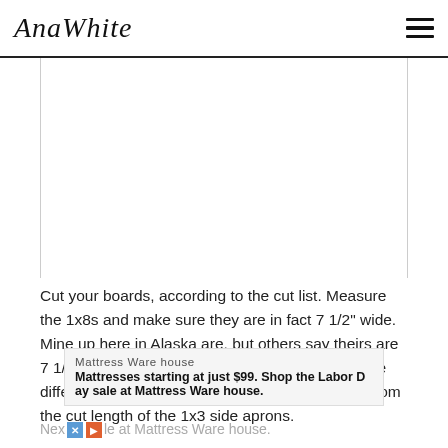AnaWhite
[Figure (photo): White/blank image placeholder area within a bordered content region]
Cut your boards, according to the cut list. Measure the 1x8s and make sure they are in fact 7 1/2" wide. Mine up here in Alaska are, but others say theirs are 7 1/4" or 7 3/8". If your 1x8s are narrower, take the difference, multiply it by three, and subtract that from the cut length of the 1x3 side aprons.
Mattress Warehouse
Mattresses starting at just $99. Shop the Labor Day sale at Mattress Warehouse.
Next